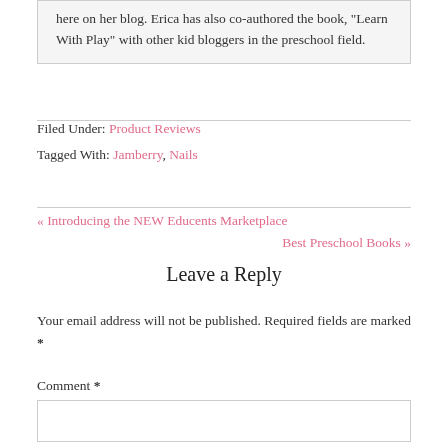here on her blog. Erica has also co-authored the book, "Learn With Play" with other kid bloggers in the preschool field.
Filed Under: Product Reviews
Tagged With: Jamberry, Nails
« Introducing the NEW Educents Marketplace
Best Preschool Books »
Leave a Reply
Your email address will not be published. Required fields are marked *
Comment *